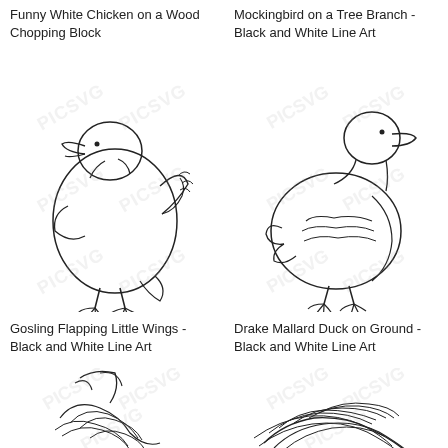Funny White Chicken on a Wood Chopping Block
Mockingbird on a Tree Branch - Black and White Line Art
[Figure (illustration): Black and white line art illustration of a gosling flapping little wings, watermarked]
[Figure (illustration): Black and white line art illustration of a Drake Mallard Duck on ground, watermarked]
Gosling Flapping Little Wings - Black and White Line Art
Drake Mallard Duck on Ground - Black and White Line Art
[Figure (illustration): Black and white line art illustration of a bird (partial, bottom left), watermarked]
[Figure (illustration): Black and white line art illustration of a bird (partial, bottom right), watermarked]